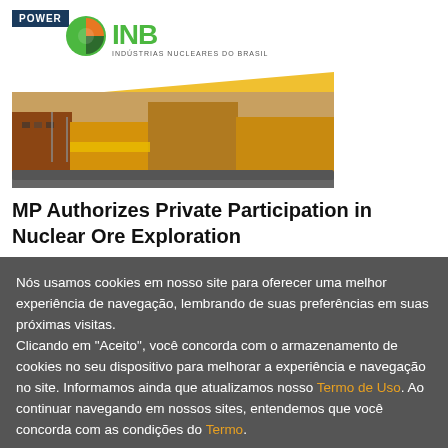[Figure (logo): INB Indústrias Nucleares do Brasil logo with POWER badge and building photo below]
MP Authorizes Private Participation in Nuclear Ore Exploration
Nós usamos cookies em nosso site para oferecer uma melhor experiência de navegação, lembrando de suas preferências em suas próximas visitas.
Clicando em "Aceito", você concorda com o armazenamento de cookies no seu dispositivo para melhorar a experiência e navegação no site. Informamos ainda que atualizamos nosso Termo de Uso. Ao continuar navegando em nossos sites, entendemos que você concorda com as condições do Termo.
Aceitar